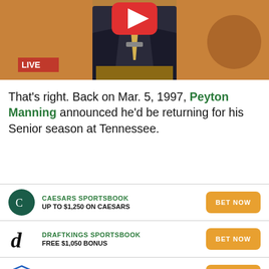[Figure (screenshot): Video thumbnail showing a man in a suit at a podium with a LIVE badge in the lower left and a YouTube play button at the top center]
That's right. Back on Mar. 5, 1997, Peyton Manning announced he'd be returning for his Senior season at Tennessee.
| Logo | Sportsbook | Offer | Action |
| --- | --- | --- | --- |
| Caesars | CAESARS SPORTSBOOK | UP TO $1,250 ON CAESARS | BET NOW |
| DraftKings | DRAFTKINGS SPORTSBOOK | FREE $1,050 BONUS | BET NOW |
| FanDuel | FANDUEL SPORTSBOOK | FREE $1,000 BET | BET NOW |